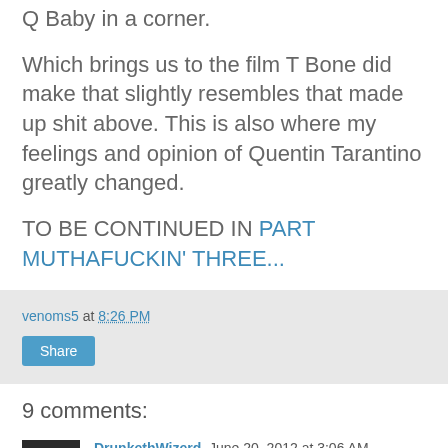Q Baby in a corner.
Which brings us to the film T Bone did make that slightly resembles that made up shit above. This is also where my feelings and opinion of Quentin Tarantino greatly changed.
TO BE CONTINUED IN PART MUTHAFUCKIN' THREE...
venoms5 at 8:26 PM
Share
9 comments:
DrunkethWizerd June 20, 2012 at 3:06 AM
This is one nice read. Pretty fucked up and funny too.